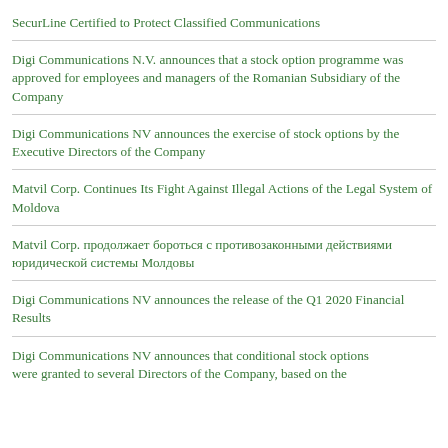SecurLine Certified to Protect Classified Communications
Digi Communications N.V. announces that a stock option programme was approved for employees and managers of the Romanian Subsidiary of the Company
Digi Communications NV announces the exercise of stock options by the Executive Directors of the Company
Matvil Corp. Continues Its Fight Against Illegal Actions of the Legal System of Moldova
Matvil Corp. продолжает бороться с противозаконными действиями юридической системы Молдовы
Digi Communications NV announces the release of the Q1 2020 Financial Results
Digi Communications NV announces that conditional stock options were granted to several Directors of the Company, based on the…